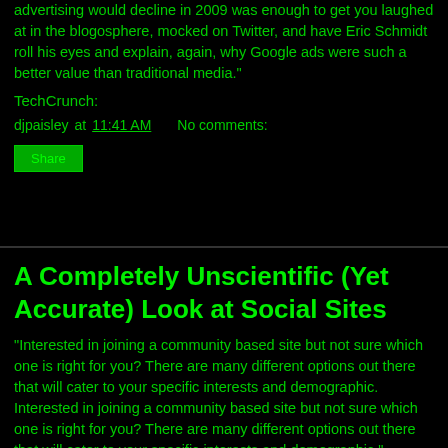advertising would decline in 2009 was enough to get you laughed at in the blogosphere, mocked on Twitter, and have Eric Schmidt roll his eyes and explain, again, why Google ads were such a better value than traditional media."
TechCrunch:
djpaisley at 11:41 AM    No comments:
A Completely Unscientific (Yet Accurate) Look at Social Sites
"Interested in joining a community based site but not sure which one is right for you? There are many different options out there that will cater to your specific interests and demographic. Interested in joining a community based site but not sure which one is right for you? There are many different options out there that will cater to your specific interests and demographic."